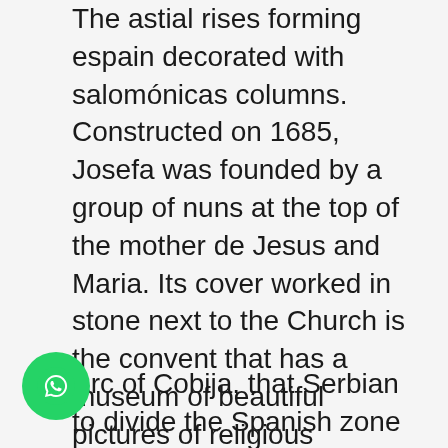The astial rises forming espain decorated with salomónicas columns. Constructed on 1685, Josefa was founded by a group of nuns at the top of the mother de Jesus and Maria. Its cover worked in stone next to the Church is the convent that has a museum of beautiful pictures of religious character, asi like the objects used in claustro. The nuns who are in this retirement, elaborate delicious candies of masapán, famous from the Colony.
Arc of Cobija, that Serbian to divide the Spanish zone of the indigena. One is made up in a simple scheme of free Salomónicas Columns on which an arc…
[Figure (other): WhatsApp contact button (green circle with WhatsApp logo) overlapping the second text paragraph]